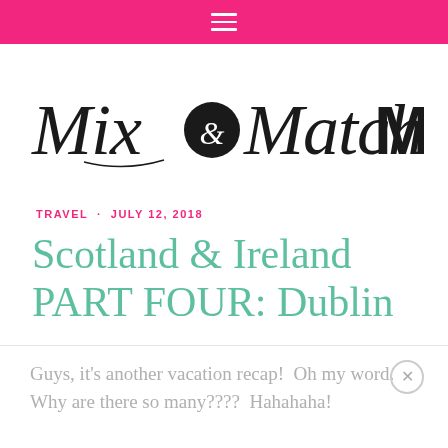Navigation bar with hamburger menu
[Figure (logo): Mix & Match Mama logo — script text 'Mix&Match' with ampersand in a circle, followed by bold block letters 'MAMA']
TRAVEL · JULY 12, 2018
Scotland & Ireland PART FOUR: Dublin
Guys, it's another vacation recap!  Oh my word.  Why are there so many????  Hahahaha!